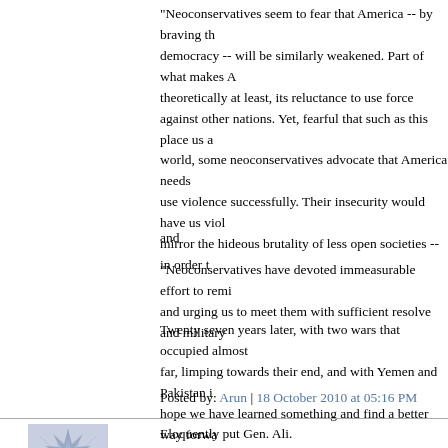"Neoconservatives seem to fear that America -- by braving th democracy -- will be similarly weakened. Part of what makes A theoretically at least, its reluctance to use force against other nations. Yet, fearful that such as this place us a world, some neoconservatives advocate that America needs use violence successfully. Their insecurity would have us viol mirror the hideous brutality of less open societies -- in order t
and
"Neoconservatives have devoted immeasurable effort to remi and urging us to meet them with sufficient resolve and military
Twenty seven years later, with two wars that occupied almost far, limping towards their end, and with Yemen and Pakistan i hope we have learned something and find a better way forwa
Posted by: Arun | 18 October 2010 at 05:16 PM
[Figure (illustration): Avatar image with geometric snowflake/star pattern in blue-grey tones]
Eloquently put Gen. Ali.

One then has to ask the Two questions; Exactly how and wh